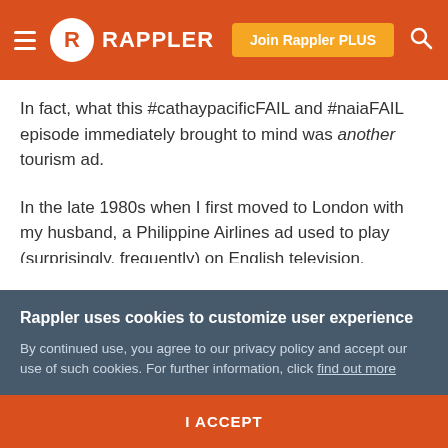Rappler — Join Rappler PLUS
In fact, what this #cathaypacificFAIL and #naiaFAIL episode immediately brought to mind was another tourism ad.
In the late 1980s when I first moved to London with my husband, a Philippine Airlines ad used to play (surprisingly, frequently) on English television.
Call it homesickness, call it yearning, but that PAL commercial never failed to get me going. Every time it
Rappler uses cookies to customize user experience
By continued use, you agree to our privacy policy and accept our use of such cookies. For further information, click find out more
I ACCEPT